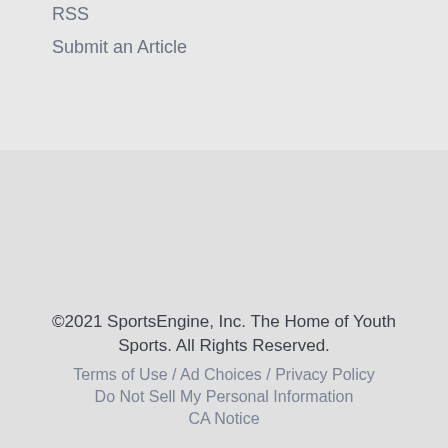RSS
Submit an Article
©2021 SportsEngine, Inc. The Home of Youth Sports. All Rights Reserved.
Terms of Use / Ad Choices / Privacy Policy
Do Not Sell My Personal Information
CA Notice